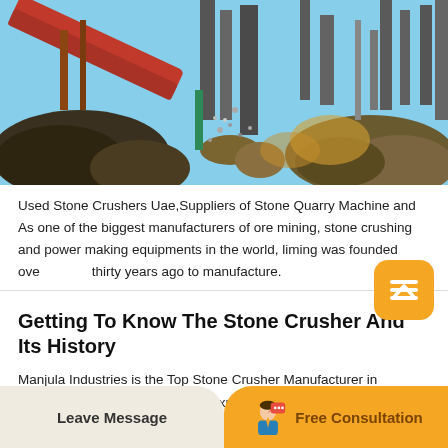[Figure (photo): Industrial stone crushing machinery and equipment with large rocks and conveyor belts at a quarry/mining site]
Used Stone Crushers Uae,Suppliers of Stone Quarry Machine and As one of the biggest manufacturers of ore mining, stone crushing and power making equipments in the world, liming was founded over thirty years ago to manufacture.
Getting To Know The Stone Crusher And Its History
Manjula Industries is the Top Stone Crusher Manufacturer in Maharashtra. We manufacture Laxman Stone Crusher, Vibrating Screen Wire Mesh Screen Cloth. about Manjula Industries. McQuaid Engineering Ltd. Crushers. Located in. United Kingdom. 3.8 36....
Leave Message   Free Consultation